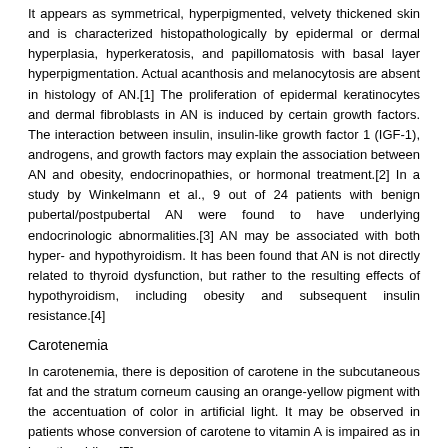It appears as symmetrical, hyperpigmented, velvety thickened skin and is characterized histopathologically by epidermal or dermal hyperplasia, hyperkeratosis, and papillomatosis with basal layer hyperpigmentation. Actual acanthosis and melanocytosis are absent in histology of AN.[1] The proliferation of epidermal keratinocytes and dermal fibroblasts in AN is induced by certain growth factors. The interaction between insulin, insulin-like growth factor 1 (IGF-1), androgens, and growth factors may explain the association between AN and obesity, endocrinopathies, or hormonal treatment.[2] In a study by Winkelmann et al., 9 out of 24 patients with benign pubertal/postpubertal AN were found to have underlying endocrinologic abnormalities.[3] AN may be associated with both hyper- and hypothyroidism. It has been found that AN is not directly related to thyroid dysfunction, but rather to the resulting effects of hypothyroidism, including obesity and subsequent insulin resistance.[4]
Carotenemia
In carotenemia, there is deposition of carotene in the subcutaneous fat and the stratum corneum causing an orange-yellow pigment with the accentuation of color in artificial light. It may be observed in patients whose conversion of carotene to vitamin A is impaired as in hypothyroidism.[5]
Diffuse hypermelanosis
Hyperpigmentation may be observed in hyperthyroidism in a distribution similar to Addison disease (creases of the palms and soles, gingiva, and